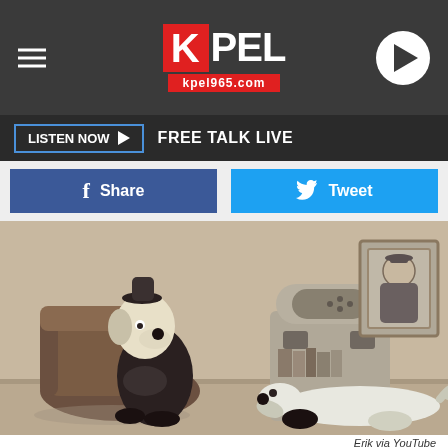KPEL kpel965.com
LISTEN NOW ▶ FREE TALK LIVE
f Share
Tweet
[Figure (illustration): Vintage Disney cartoon still in sepia tone showing Goofy sitting in an armchair listening to a radio, with Pluto lying on the floor beside him. A framed portrait hangs on the wall in the background.]
Erik via YouTube